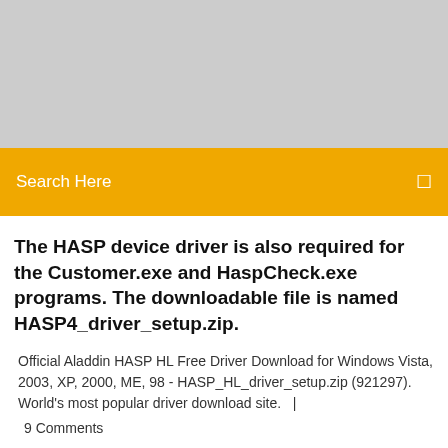[Figure (other): Gray advertisement banner placeholder at top of page]
Search Here
The HASP device driver is also required for the Customer.exe and HaspCheck.exe programs. The downloadable file is named HASP4_driver_setup.zip.
Official Aladdin HASP HL Free Driver Download for Windows Vista, 2003, XP, 2000, ME, 98 - HASP_HL_driver_setup.zip (921297). World's most popular driver download site.   |
9 Comments